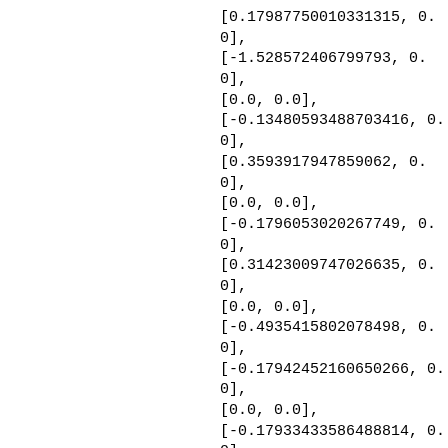[0.17987750010331313, 0.0],
[-1.528572406799793, 0.0],
[0.0, 0.0],
[-0.13480593488703416, 0.0],
[0.3593917947859062, 0.0],
[0.0, 0.0],
[-0.1796053020267749, 0.0],
[0.31423009747026635, 0.0],
[0.0, 0.0],
[-0.4935415802078498, 0.0],
[-0.17942452160650266, 0.0],
[0.0, 0.0],
[-0.17933433586488814, 0.0],
[-0.3585785879228224, 0.0],
[0.0, 0.0],
[-0.7615970754728453, 0.0],
[-0.08957718580447786, 0.0],
[0.0, 0.0], [0.0, 0.0],
[1.4769129655676372, 0.0],
[0.0, 0.0], [0.0, 0.0],
[0.0000000787740000007, 0.0]